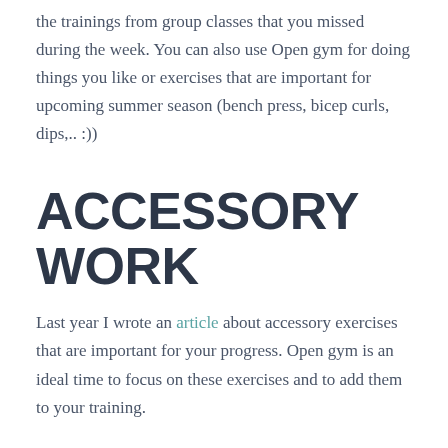the trainings from group classes that you missed during the week. You can also use Open gym for doing things you like or exercises that are important for upcoming summer season (bench press, bicep curls, dips,.. :))
ACCESSORY WORK
Last year I wrote an article about accessory exercises that are important for your progress. Open gym is an ideal time to focus on these exercises and to add them to your training.